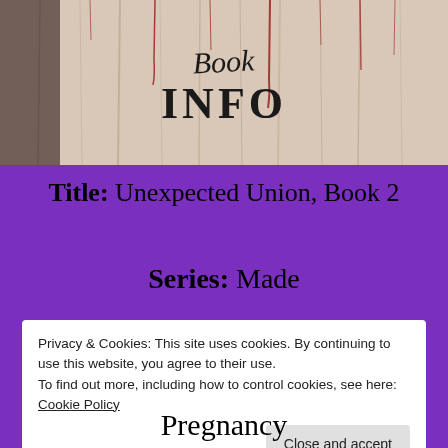[Figure (illustration): Banner image with horror/blood-splatter wood texture background and 'Book INFO' text in stylized lettering]
Title: Unexpected Union, Book 2
Series: Made
Privacy & Cookies: This site uses cookies. By continuing to use this website, you agree to their use.
To find out more, including how to control cookies, see here:
Cookie Policy
Close and accept
Pregnancy